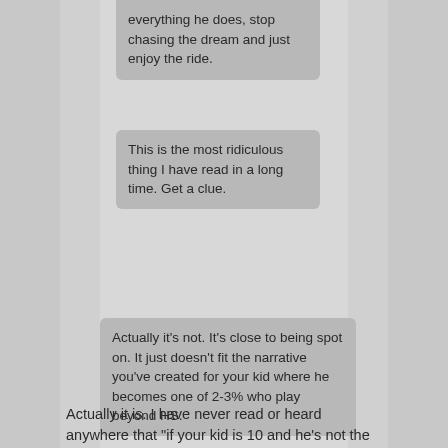everything he does, stop chasing the dream and just enjoy the ride.
This is the most ridiculous thing I have read in a long time. Get a clue.
Actually it's not. It's close to being spot on. It just doesn't fit the narrative you've created for your kid where he becomes one of 2-3% who play beyond HS.
Actually it is. I have never read or heard anywhere that "if your kid is 10 and he's not the best at every sport he plays...